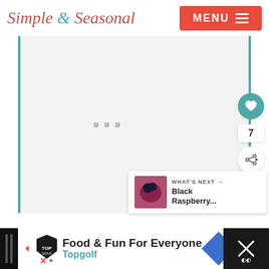Simple & Seasonal  MENU
[Figure (screenshot): Gray content area placeholder with loading dots and a teal left/right border, with heart (7 likes) and share buttons on the right side, and a 'What's Next - Black Raspberry...' panel at the bottom right]
[Figure (infographic): Advertisement banner: Topgolf shield logo with 'Food & Fun For Everyone' and 'Topgolf' text, a blue diamond navigation icon, and a dark close panel on the right]